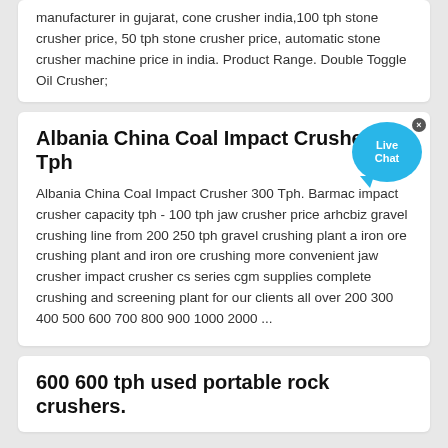manufacturer in gujarat, cone crusher india,100 tph stone crusher price, 50 tph stone crusher price, automatic stone crusher machine price in india. Product Range. Double Toggle Oil Crusher;
Albania China Coal Impact Crusher 300 Tph
Albania China Coal Impact Crusher 300 Tph. Barmac impact crusher capacity tph - 100 tph jaw crusher price arhcbiz gravel crushing line from 200 250 tph gravel crushing plant a iron ore crushing plant and iron ore crushing more convenient jaw crusher impact crusher cs series cgm supplies complete crushing and screening plant for our clients all over 200 300 400 500 600 700 800 900 1000 2000 ...
600 600 tph used portable rock crushers.